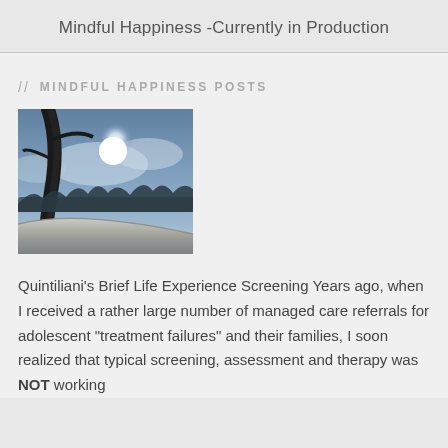Mindful Happiness -Currently in Production
// MINDFUL HAPPINESS POSTS
[Figure (photo): Upward view of a tree trunk against a bright sun and cloudy sky, with a log or beam in the foreground]
Quintiliani's Brief Life Experience Screening Years ago, when I received a rather large number of managed care referrals for adolescent "treatment failures" and their families, I soon realized that typical screening, assessment and therapy was NOT working